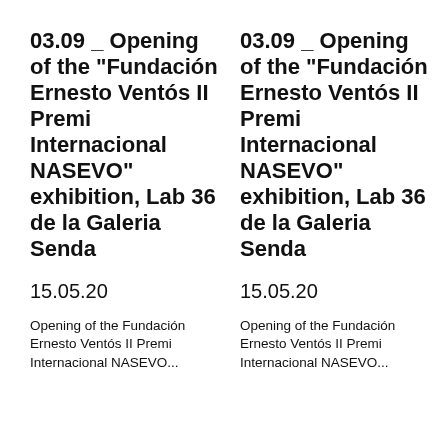03.09 _ Opening of the “Fundación Ernesto Ventós II Premi Internacional NASEVO” exhibition, Lab 36 de la Galeria Senda
15.05.20
Opening of the Fundación Ernesto Ventós II Premi Internacional NASEVO...
03.09 _ Opening of the “Fundación Ernesto Ventós II Premi Internacional NASEVO” exhibition, Lab 36 de la Galeria Senda
15.05.20
Opening of the Fundación Ernesto Ventós II Premi Internacional NASEVO...